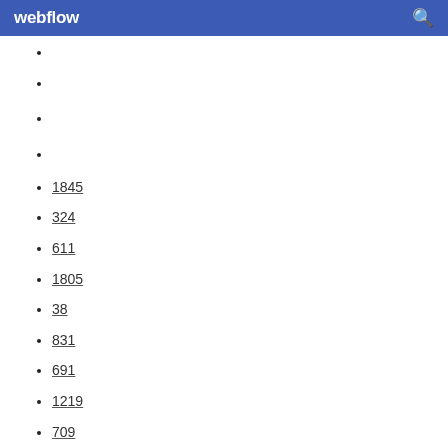webflow
1845
324
611
1805
38
831
691
1219
709